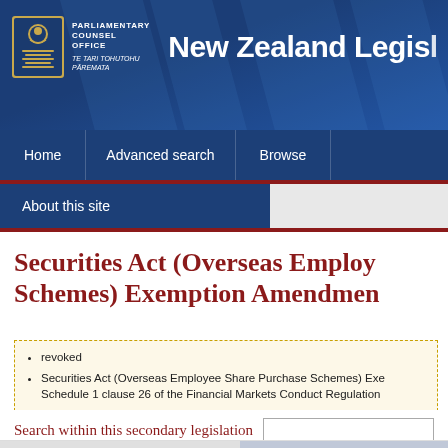Parliamentary Counsel Office / Te Tari Tohutohu Pāremata — New Zealand Legislation
Home | Advanced search | Browse | About this site
Securities Act (Overseas Employee Share Purchase Schemes) Exemption Amendment
revoked
Securities Act (Overseas Employee Share Purchase Schemes) Exemption — Schedule 1 clause 26 of the Financial Markets Conduct Regulation
Search within this secondary legislation